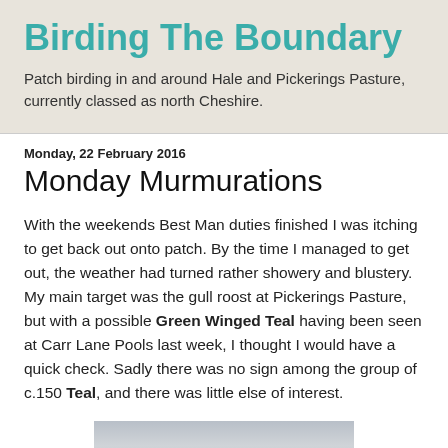Birding The Boundary
Patch birding in and around Hale and Pickerings Pasture, currently classed as north Cheshire.
Monday, 22 February 2016
Monday Murmurations
With the weekends Best Man duties finished I was itching to get back out onto patch. By the time I managed to get out, the weather had turned rather showery and blustery. My main target was the gull roost at Pickerings Pasture, but with a possible Green Winged Teal having been seen at Carr Lane Pools last week, I thought I would have a quick check. Sadly there was no sign among the group of c.150 Teal, and there was little else of interest.
[Figure (photo): Partial photo at bottom of page, appears to be a landscape/sky shot]